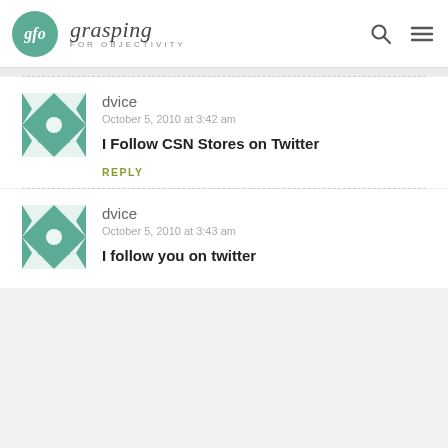grasping FOR OBJECTIVITY
[Figure (illustration): Quilt-pattern avatar for user dvice, teal and white geometric design]
dvice
October 5, 2010 at 3:42 am
I Follow CSN Stores on Twitter
REPLY
[Figure (illustration): Quilt-pattern avatar for user dvice, teal and white geometric design]
dvice
October 5, 2010 at 3:43 am
I follow you on twitter